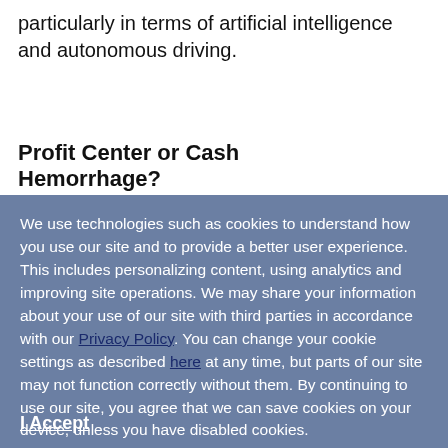particularly in terms of artificial intelligence and autonomous driving.
Profit Center or Cash Hemorrhage?
We use technologies such as cookies to understand how you use our site and to provide a better user experience. This includes personalizing content, using analytics and improving site operations. We may share your information about your use of our site with third parties in accordance with our Privacy Policy. You can change your cookie settings as described here at any time, but parts of our site may not function correctly without them. By continuing to use our site, you agree that we can save cookies on your device, unless you have disabled cookies.
I Accept